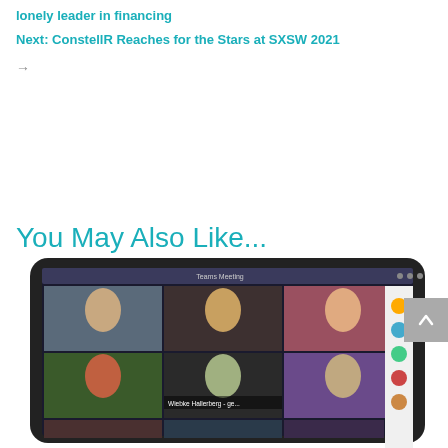lonely leader in financing
Next: ConstellR Reaches for the Stars at SXSW 2021
→
You May Also Like...
[Figure (photo): A screenshot of a video conferencing application (Teams Meeting) showing multiple participants in a grid view, including a person labeled 'Wiebke Hallerberg - ge...' The screen is shown as a monitor/tablet display.]